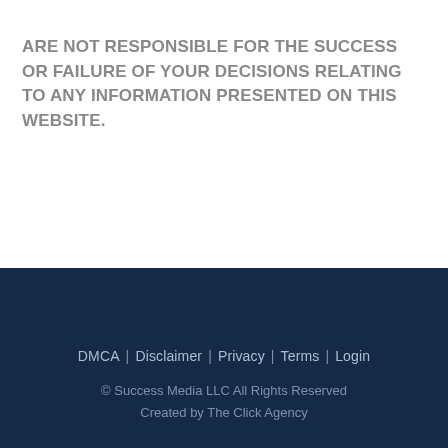ARE NOT RESPONSIBLE FOR THE SUCCESS OR FAILURE OF YOUR DECISIONS RELATING TO ANY INFORMATION PRESENTED ON THIS WEBSITE.
DMCA | Disclaimer | Privacy | Terms | Login
© Success Media LLC All Rights Reserved
Created by The Click Agency